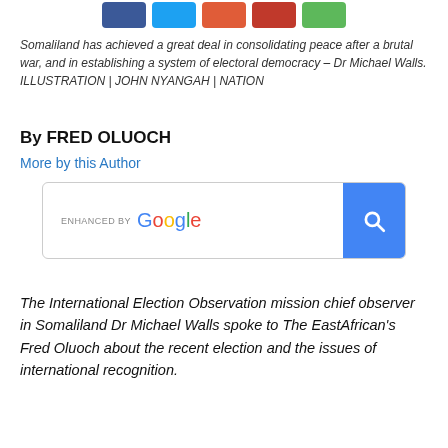[Figure (other): Social media share buttons: Facebook (blue), Twitter (light blue), two red buttons, and a green button]
Somaliland has achieved a great deal in consolidating peace after a brutal war, and in establishing a system of electoral democracy – Dr Michael Walls. ILLUSTRATION | JOHN NYANGAH | NATION
By FRED OLUOCH
More by this Author
[Figure (other): Google search box with 'ENHANCED BY Google' label and a blue search button with magnifying glass icon]
The International Election Observation mission chief observer in Somaliland Dr Michael Walls spoke to The EastAfrican's Fred Oluoch about the recent election and the issues of international recognition.